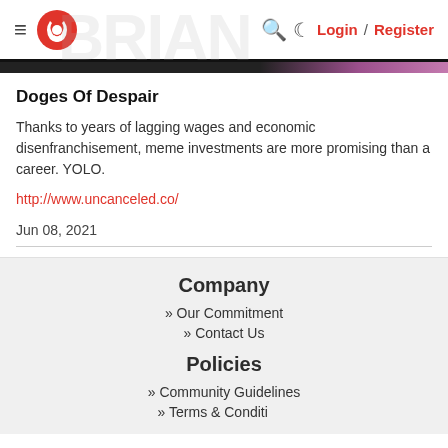≡ [logo] Login / Register
Doges Of Despair
Thanks to years of lagging wages and economic disenfranchisement, meme investments are more promising than a career. YOLO.
http://www.uncanceled.co/
Jun 08, 2021
Company
Our Commitment
Contact Us
Policies
Community Guidelines
Terms & Conditions